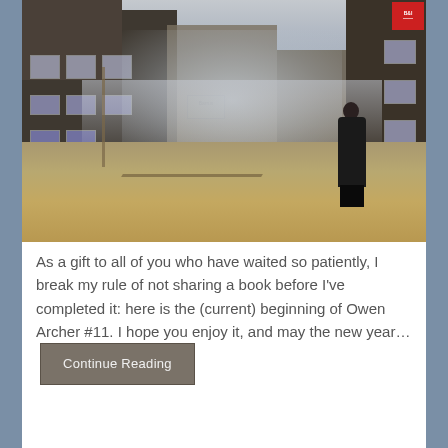[Figure (photo): A misty, narrow medieval cobblestone street lined with old Tudor-style buildings. A lone figure dressed in black stands in the middle of the street. A red sign is visible in the upper right corner.]
As a gift to all of you who have waited so patiently, I break my rule of not sharing a book before I've completed it: here is the (current) beginning of Owen Archer #11. I hope you enjoy it, and may the new year… Continue Reading